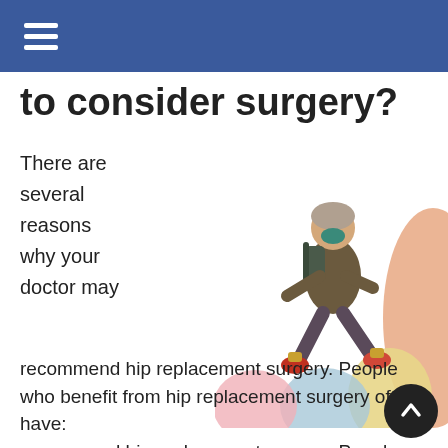☰ (navigation menu)
to consider surgery?
There are several reasons why your doctor may
[Figure (photo): An older man with gray hair and a backpack jumping or stepping energetically, with colorful abstract blob shapes (pink, light blue, yellow, orange) in the background]
recommend hip replacement surgery. People who benefit from hip replacement surgery often have:
Hip pain that limits everyday activities, such as walking or bending
Hip pain that continues while resting, either day